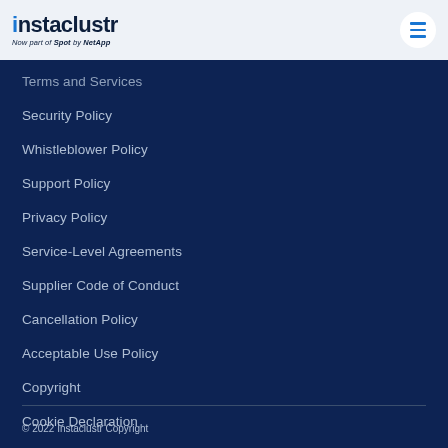[Figure (logo): Instaclustr logo with text 'Now part of Spot by NetApp' below]
Terms and Services
Security Policy
Whistleblower Policy
Support Policy
Privacy Policy
Service-Level Agreements
Supplier Code of Conduct
Cancellation Policy
Acceptable Use Policy
Copyright
Cookie Declaration
© 2022 Instaclustr Copyright